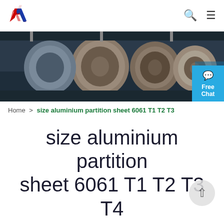[Figure (logo): Aluminum company logo with stylized 'AW' letters in red and blue]
[Figure (photo): Industrial photo of large aluminum coil rolls in a factory/warehouse setting]
Home > size aluminium partition sheet 6061 T1 T2 T3
size aluminium partition sheet 6061 T1 T2 T3 T4 T6
Just Fill In The Form Below, Click Submit, You Will Get The